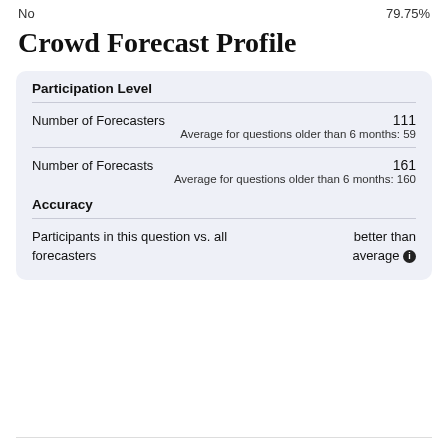No  79.75%
Crowd Forecast Profile
Participation Level
Number of Forecasters  111
Average for questions older than 6 months: 59
Number of Forecasts  161
Average for questions older than 6 months: 160
Accuracy
Participants in this question vs. all forecasters  better than average ℹ